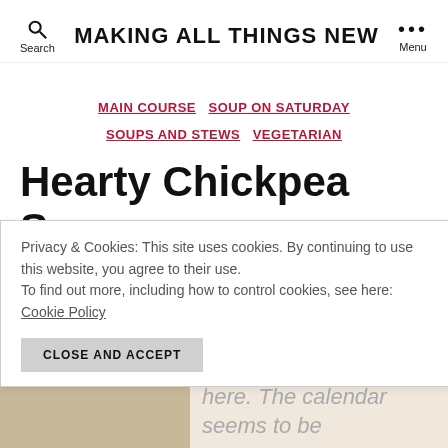MAKING ALL THINGS NEW
MAIN COURSE  SOUP ON SATURDAY  SOUPS AND STEWS  VEGETARIAN
Hearty Chickpea Soup
By seedthrower1  11/19/2011  1 Comment
Privacy & Cookies: This site uses cookies. By continuing to use this website, you agree to their use. To find out more, including how to control cookies, see here: Cookie Policy
CLOSE AND ACCEPT
Thanksgiving is almost here.  The calendar seems to be